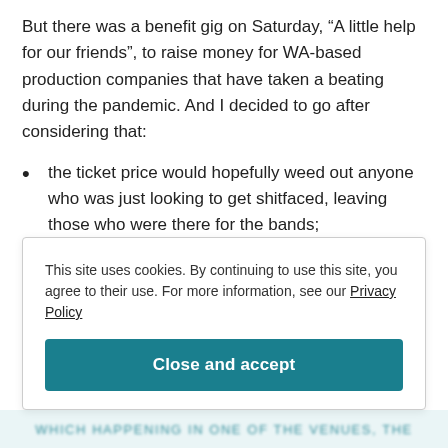But there was a benefit gig on Saturday, “A little help for our friends”, to raise money for WA-based production companies that have taken a beating during the pandemic. And I decided to go after considering that:
the ticket price would hopefully weed out anyone who was just looking to get shitfaced, leaving those who were there for the bands;
it was at the Astor Theatre, where one can get a drink, but alcohol isn’t the main point of its
This site uses cookies. By continuing to use this site, you agree to their use. For more information, see our Privacy Policy
Close and accept